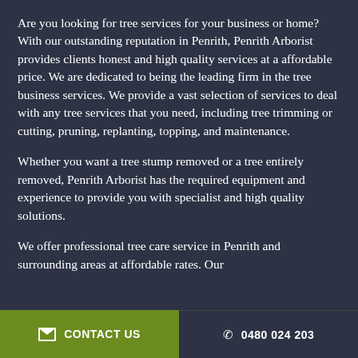Are you looking for tree services for your business or home? With our outstanding reputation in Penrith, Penrith Arborist provides clients honest and high quality services at a affordable price. We are dedicated to being the leading firm in the tree business services. We provide a vast selection of services to deal with any tree services that you need, including tree trimming or cutting, pruning, replanting, topping, and maintenance.
Whether you want a tree stump removed or a tree entirely removed, Penrith Arborist has the required equipment and experience to provide you with specialist and high quality solutions.
We offer professional tree care service in Penrith and surrounding areas at affordable rates. Our
✉ CONTACT US    ✆ 0480 024 203